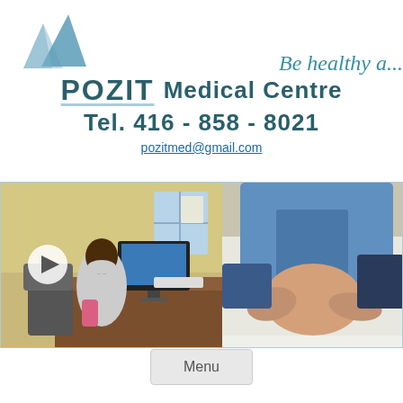[Figure (logo): Pozit Medical Centre logo with two blue triangles]
Be healthy a…
POZIT Medical Centre
Tel. 416 - 858 - 8021
pozitmed@gmail.com
[Figure (photo): Two photos side by side: left shows a woman working at a computer desk in an office, right shows hands performing a medical examination on a patient's knee]
Menu